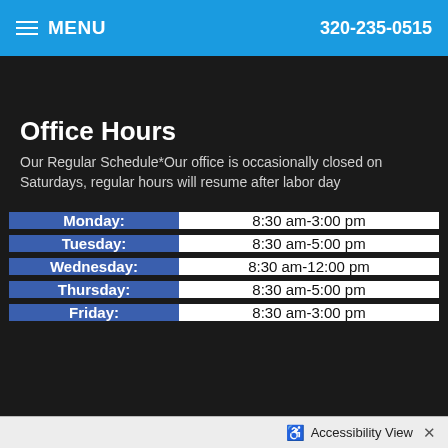MENU   320-235-0515
Leaflet | Map data provided by Internet Brands
Office Hours
Our Regular Schedule*Our office is occasionally closed on Saturdays, regular hours will resume after labor day
| Day | Hours |
| --- | --- |
| Monday: | 8:30 am-3:00 pm |
| Tuesday: | 8:30 am-5:00 pm |
| Wednesday: | 8:30 am-12:00 pm |
| Thursday: | 8:30 am-5:00 pm |
| Friday: | 8:30 am-3:00 pm |
Accessibility View